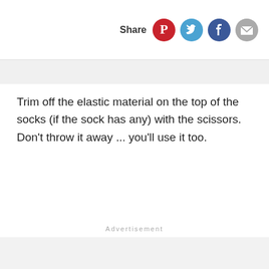Share
Trim off the elastic material on the top of the socks (if the sock has any) with the scissors. Don't throw it away ... you'll use it too.
Advertisement